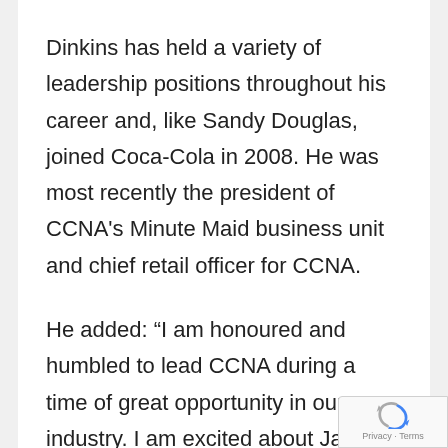Dinkins has held a variety of leadership positions throughout his career and, like Sandy Douglas, joined Coca-Cola in 2008. He was most recently the president of CCNA's Minute Maid business unit and chief retail officer for CCNA.
He added: “I am honoured and humbled to lead CCNA during a time of great opportunity in our industry. I am excited about James’ vision for the company, and I am thankful to